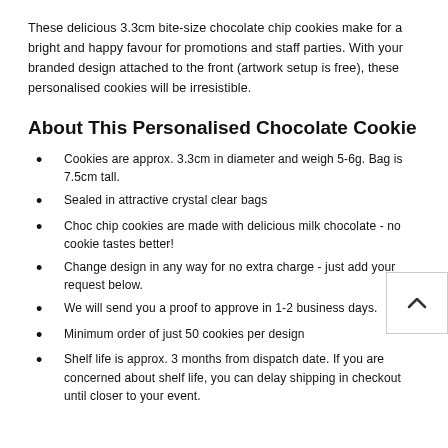These delicious 3.3cm bite-size chocolate chip cookies make for a bright and happy favour for promotions and staff parties. With your branded design attached to the front (artwork setup is free), these personalised cookies will be irresistible.
About This Personalised Chocolate Cookie
Cookies are approx. 3.3cm in diameter and weigh 5-6g. Bag is 7.5cm tall.
Sealed in attractive crystal clear bags
Choc chip cookies are made with delicious milk chocolate - no cookie tastes better!
Change design in any way for no extra charge - just add your request below.
We will send you a proof to approve in 1-2 business days.
Minimum order of just 50 cookies per design
Shelf life is approx. 3 months from dispatch date. If you are concerned about shelf life, you can delay shipping in checkout until closer to your event.